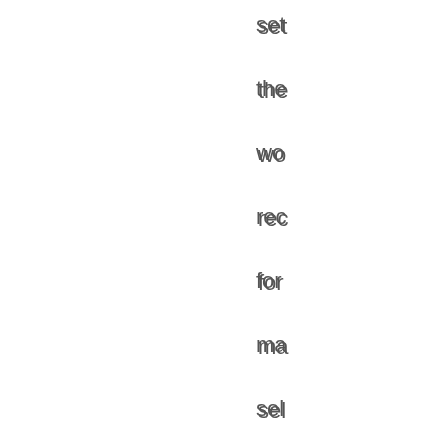set the wo rec for ma sel de: yo are the wo CE of all tim Ste